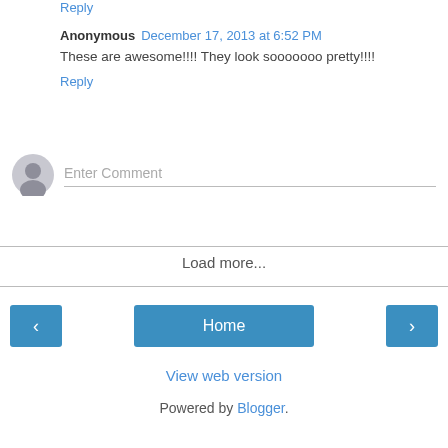Reply
Anonymous  December 17, 2013 at 6:52 PM
These are awesome!!!! They look sooooooo pretty!!!!
Reply
[Figure (other): Comment input area with avatar icon and Enter Comment placeholder text field]
Load more...
Home
View web version
Powered by Blogger.